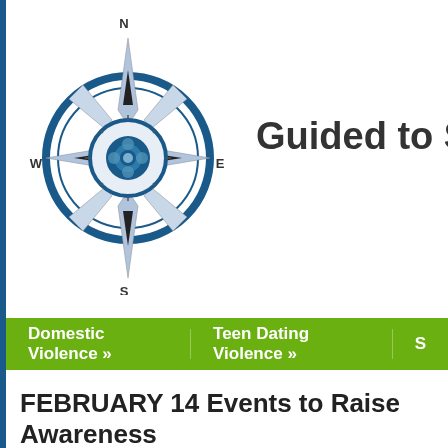[Figure (logo): Compass rose logo with N/S/E/W labels, blue circle border, silver/blue star points, blue flower center. Used as the Guided to Safety website logo.]
Guided to Safety
[Figure (screenshot): Red 'Escape' button in top right corner of webpage]
Domestic Violence »   Teen Dating Violence »   S…
FEBRUARY 14 Events to Raise Awareness
By guidedtosafety on January 13, 2015
Get your calendar out and schedule them in! One Billion Rising 2015... Guided To Safety and the Sonoma County Commission on the Status o... Out for Justice and demanding an end to the violence against wom...